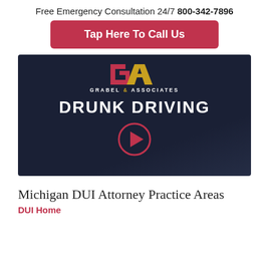Free Emergency Consultation 24/7 800-342-7896
Tap Here To Call Us
[Figure (screenshot): Grabel & Associates law firm video thumbnail with dark background showing 'DRUNK DRIVING' title, firm logo, and a play button circle]
Michigan DUI Attorney Practice Areas
DUI Home